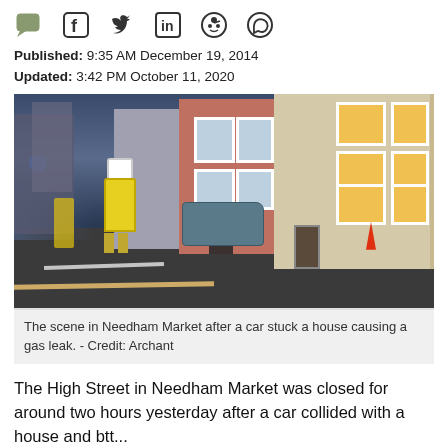[Figure (other): Social media sharing icons: comment/chat, Facebook, Twitter, LinkedIn, Reddit, WhatsApp]
Published: 9:35 AM December 19, 2014
Updated: 3:42 PM October 11, 2020
[Figure (photo): Street scene in Needham Market at dusk showing workers in high-visibility yellow jackets, a car parked on a narrow high street, and terraced houses on the right side. Emergency lighting and a safety cone are visible.]
The scene in Needham Market after a car stuck a house causing a gas leak. - Credit: Archant
The High Street in Needham Market was closed for around two hours yesterday after a car collided with a house and btt...